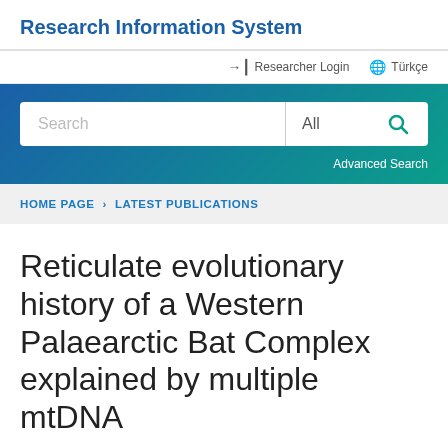Research Information System
Researcher Login  Türkçe
[Figure (screenshot): Search bar with placeholder text 'Search', dropdown 'All', and a search icon button, inside a blue-to-teal gradient banner with an 'Advanced Search' link below]
HOME PAGE > LATEST PUBLICATIONS
Reticulate evolutionary history of a Western Palaearctic Bat Complex explained by multiple mtDNA